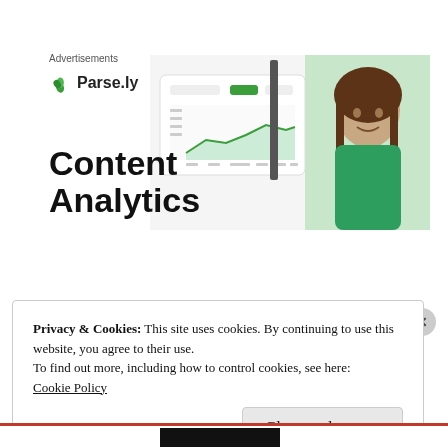Advertisements
[Figure (logo): Parse.ly logo with green leaf icon and bold text 'Parse.ly']
[Figure (screenshot): Parse.ly Content Analytics advertisement image showing a dashboard chart and a woman in a green top smiling, with bold text 'Content Analytics']
Privacy & Cookies: This site uses cookies. By continuing to use this website, you agree to their use.
To find out more, including how to control cookies, see here:
Cookie Policy
Close and accept